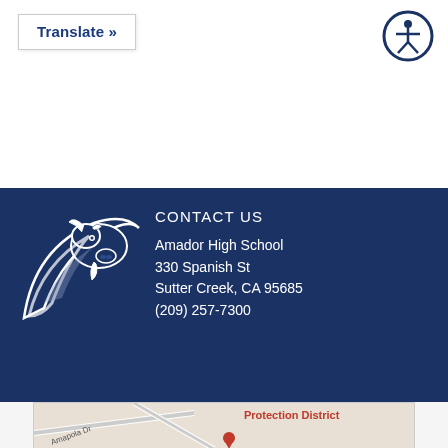Translate »
[Figure (illustration): Accessibility icon — a circular dark blue icon with a stylized person (universal accessibility symbol)]
CONTACT US
[Figure (logo): Amador High School mascot logo — white and dark blue bison/buffalo head with swoosh on dark blue background]
Amador High School
330 Spanish St
Sutter Creek, CA 95685
(209) 257-7300
[Figure (map): Partial street map showing the location near Amapola Dr with a red pin marker; text label reads 'Protection District']